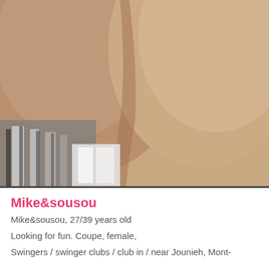[Figure (photo): Close-up photo of a person's chest/torso area, grayscale-tinted background with lighter window/wall area visible on the lower left]
Mike&sousou
Mike&sousou, 27/39 years old
Looking for fun. Coupe, female,
Swingers / swinger clubs / club in / near Jounieh, Mont-